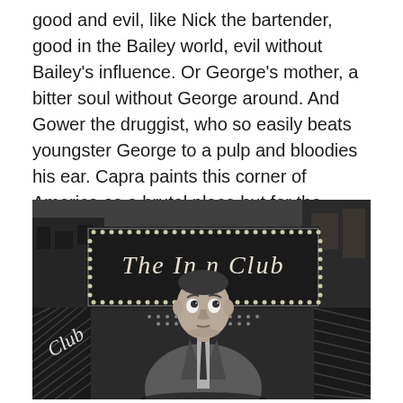good and evil, like Nick the bartender, good in the Bailey world, evil without Bailey's influence. Or George's mother, a bitter soul without George around. And Gower the druggist, who so easily beats youngster George to a pulp and bloodies his ear. Capra paints this corner of America as a brutal place but for the intervention of someone extraordinary like George, a man of principle who influences impressionable, self-involved masses.
[Figure (photo): Black and white still from a classic film showing a man in a suit and tie looking upward with a startled or awestruck expression, standing in front of a building with a marquee sign reading 'The In...n Club' decorated with light bulbs.]